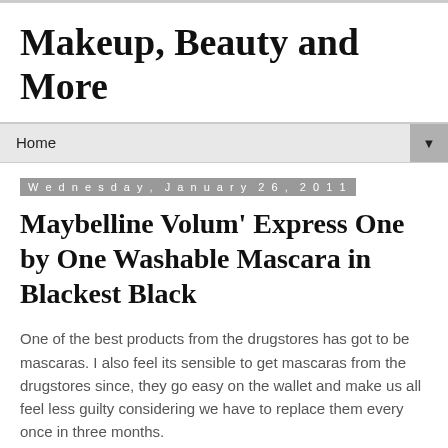Makeup, Beauty and More
Home
Wednesday, January 26, 2011
Maybelline Volum' Express One by One Washable Mascara in Blackest Black
One of the best products from the drugstores has got to be mascaras. I also feel its sensible to get mascaras from the drugstores since, they go easy on the wallet and make us all feel less guilty considering we have to replace them every once in three months.
Volume is one of my top priorities when it comes to mascaras. Most volumizing mascaras have a clumping problem and the One by One mascara claims to have that